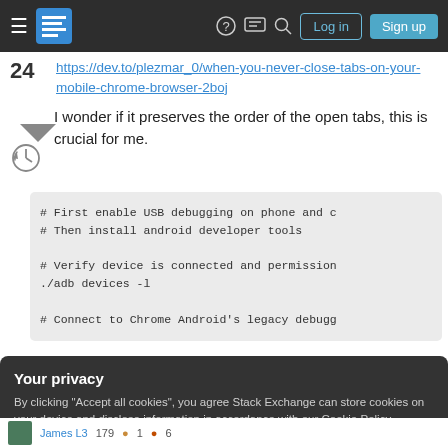Stack Exchange navigation bar with hamburger menu, logo, help, chat, search icons, Log in and Sign up buttons
https://dev.to/plezmar_0/when-you-never-close-tabs-on-your-mobile-chrome-browser-2boj
I wonder if it preserves the order of the open tabs, this is crucial for me.
# First enable USB debugging on phone and c
# Then install android developer tools

# Verify device is connected and permission
./adb devices -l

# Connect to Chrome Android's legacy debugg
Your privacy
By clicking "Accept all cookies", you agree Stack Exchange can store cookies on your device and disclose information in accordance with our Cookie Policy.
Accept all cookies
Customize settings
James L3
179 ● 1 ● 6